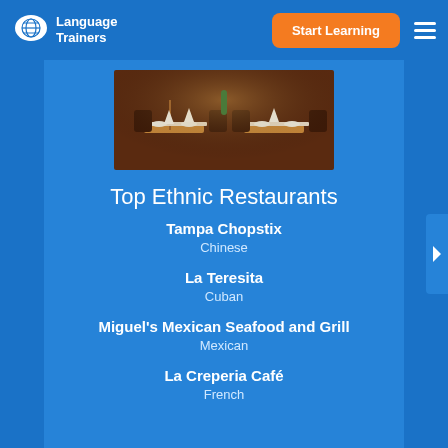[Figure (logo): Language Trainers logo with globe speech bubble icon and text 'Language Trainers']
Start Learning
[Figure (photo): Restaurant interior photo showing set dining tables with white tablecloths, plates, and glasses in warm lighting]
Top Ethnic Restaurants
Tampa Chopstix
Chinese
La Teresita
Cuban
Miguel's Mexican Seafood and Grill
Mexican
La Creperia Café
French